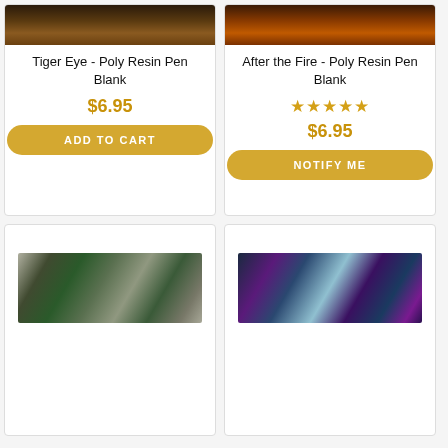[Figure (photo): Top portion of Tiger Eye poly resin pen blank product card with dark brown image strip]
Tiger Eye - Poly Resin Pen Blank
$6.95
ADD TO CART
[Figure (photo): Top portion of After the Fire poly resin pen blank product card with dark orange-brown image strip]
After the Fire - Poly Resin Pen Blank
★★★★★
$6.95
NOTIFY ME
[Figure (photo): Green and grey swirled poly resin pen blank photo]
[Figure (photo): Purple and teal swirled poly resin pen blank photo]